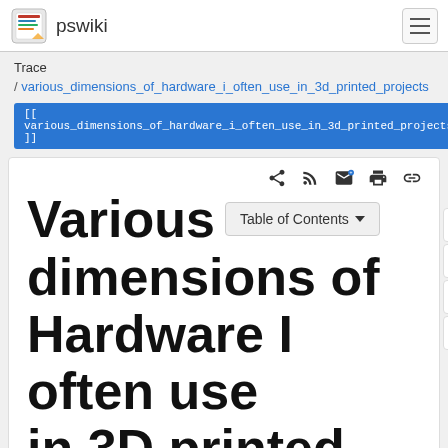pswiki
Trace / various_dimensions_of_hardware_i_often_use_in_3d_printed_projects
[[ various_dimensions_of_hardware_i_often_use_in_3d_printed_projects ]]
Various dimensions of Hardware I often use in 3D printed Projects